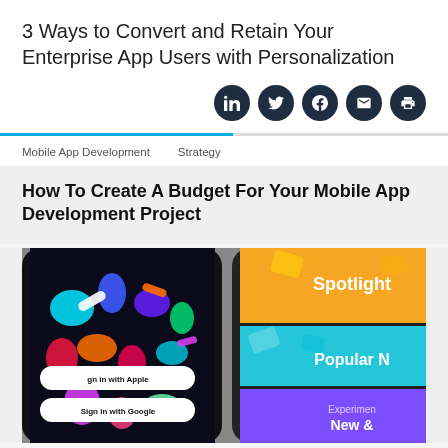3 Ways to Convert and Retain Your Enterprise App Users with Personalization
[Figure (infographic): Row of 5 dark circular social sharing icons: LinkedIn, Twitter, Facebook, email/envelope, print]
Mobile App Development    Strategy
How To Create A Budget For Your Mobile App Development Project
[Figure (photo): Two smartphones showing mobile app UI screens — left phone shows colorful app with 'Sign in with Apple' and 'Sign in with Google' buttons on dark background, right phone shows app sections labeled 'Spotlight', 'Popular N', 'Experimen New &' on orange, teal, and purple backgrounds]